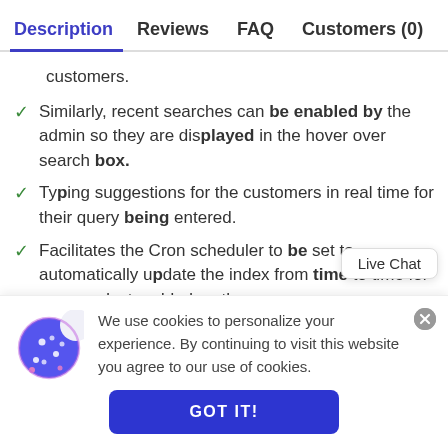Description | Reviews | FAQ | Customers (0)
customers.
Similarly, recent searches can be enabled by the admin so they are displayed in the hover over search box.
Typing suggestions for the customers in real time for their query being entered.
Facilitates the Cron scheduler to be set to automatically update the index from time to time for new products added on th
Live Chat
We use cookies to personalize your experience. By continuing to visit this website you agree to our use of cookies.
GOT IT!